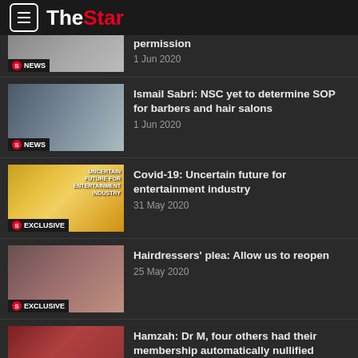The Star
permission
1 Jun 2020
Ismail Sabri: NSC yet to determine SOP for barbers and hair salons
1 Jun 2020
Covid-19: Uncertain future for entertainment industry
31 May 2020
Hairdressers' plea: Allow us to reopen
25 May 2020
Hamzah: Dr M, four others had their membership automatically nullified
29 May 2020